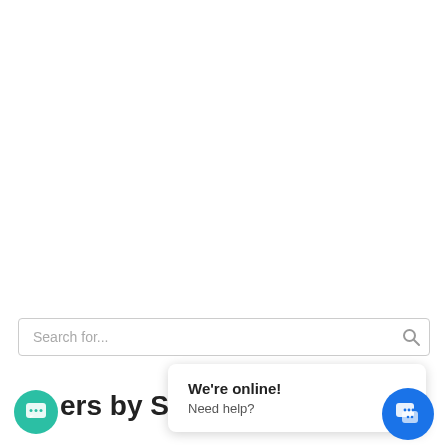[Figure (screenshot): Search bar with placeholder text 'Search for...' and a search icon on the right]
ers by Stock
[Figure (infographic): Chat widget popup showing 'We're online! Need help?' with green chat icon on left and blue chat icon on right]